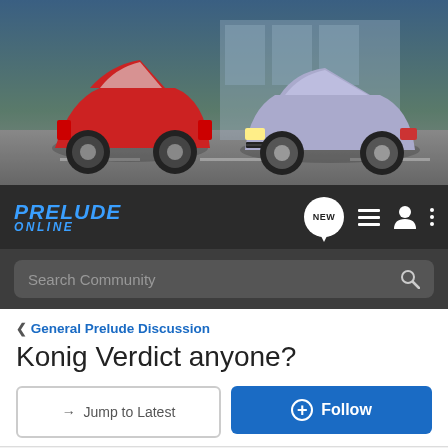[Figure (screenshot): Forum website header banner showing two cars (red coupe on left, silver/grey Honda Prelude on right) against a dark urban background]
[Figure (screenshot): Navigation bar with Prelude Online logo in blue italic text, NEW speech bubble icon, list icon, user icon, and three-dot menu icon]
[Figure (screenshot): Dark search bar with 'Search Community' placeholder text and magnifying glass icon]
< General Prelude Discussion
Konig Verdict anyone?
→ Jump to Latest
+ Follow
1 - 11 of 11 Posts
shadowZZ · Registered
Joined Mar 2, 2001 · 957 Posts